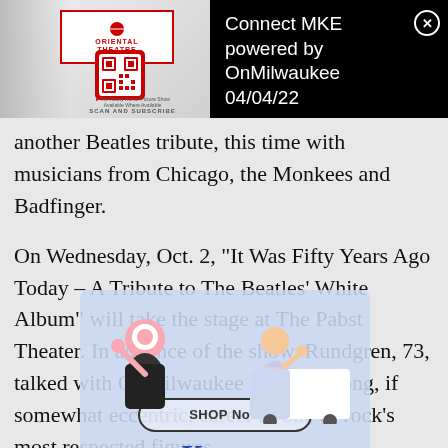[Figure (screenshot): Top banner: left side shows Oriental Theatre advertisement with woman, logo in red box, QR code and 'SCAN AND SUBSCRIBE' text. Right side shows 'Connect MKE powered by OnMilwaukee 04/04/22' in white text on black background with close X button.]
another Beatles tribute, this time with musicians from Chicago, the Monkees and Badfinger.
On Wednesday, Oct. 2, "It Was Fifty Years Ago Today – A Tribute to The Beatles' White Album" will take the stage at The Pabst Theater. In advance of the show, Rundgren, 73, talked with OnMilwaukee about his long, if somewhat eccentric, career as one of rock's most respected figures.
[Figure (screenshot): Kroger advertisement overlay with cartoon characters, 'SHOP Now' button, Kroger logo in italic blue, 'PROUDLY SERVING', Pick'n Save and metro market logos.]
OnMilwaukee: For 50 years, you've been one of